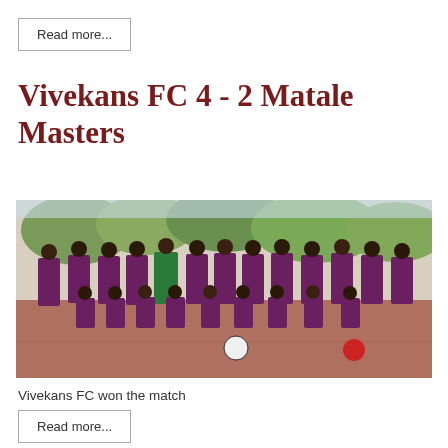Read more...
Vivekans FC 4 - 2 Matale Masters
[Figure (photo): Group photo of a football team (Vivekans FC) on a red dirt court, wearing maroon and gold striped jerseys, with trees in the background. Players in two rows — standing and kneeling.]
Vivekans FC won the match
Read more...